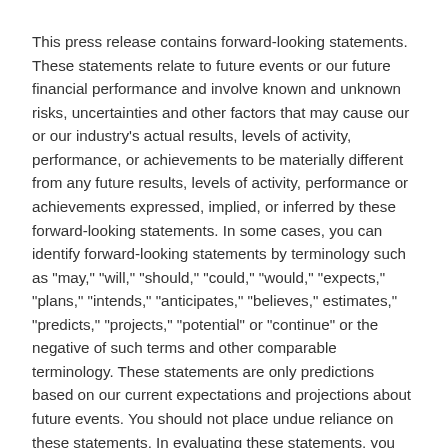This press release contains forward-looking statements. These statements relate to future events or our future financial performance and involve known and unknown risks, uncertainties and other factors that may cause our or our industry's actual results, levels of activity, performance, or achievements to be materially different from any future results, levels of activity, performance or achievements expressed, implied, or inferred by these forward-looking statements. In some cases, you can identify forward-looking statements by terminology such as "may," "will," "should," "could," "would," "expects," "plans," "intends," "anticipates," "believes," estimates," "predicts," "projects," "potential" or "continue" or the negative of such terms and other comparable terminology. These statements are only predictions based on our current expectations and projections about future events. You should not place undue reliance on these statements. In evaluating these statements, you should specifically consider various factors. Actual events or results may differ materially. These